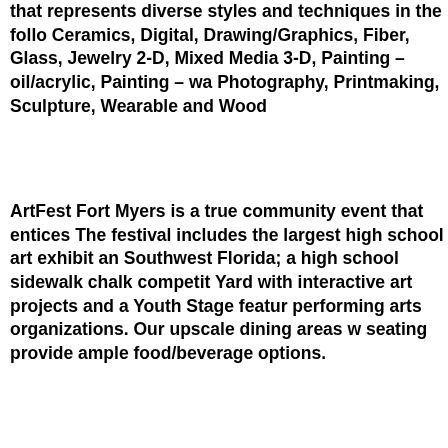that represents diverse styles and techniques in the follo Ceramics, Digital, Drawing/Graphics, Fiber, Glass, Jewelry 2-D, Mixed Media 3-D, Painting – oil/acrylic, Painting – wa Photography, Printmaking, Sculpture, Wearable and Wood
ArtFest Fort Myers is a true community event that entices The festival includes the largest high school art exhibit an Southwest Florida; a high school sidewalk chalk competit Yard with interactive art projects and a Youth Stage featur performing arts organizations. Our upscale dining areas w seating provide ample food/beverage options.